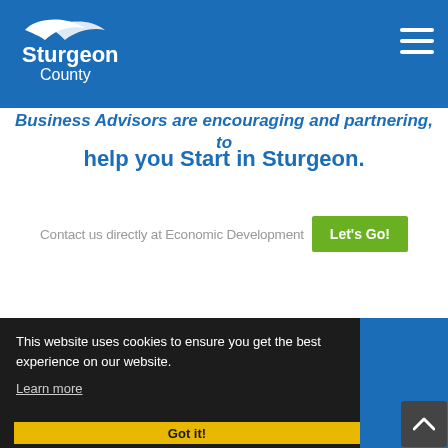Sturgeon County
Business Advisors are encouraging and partnering to help you Start in Sturgeon.
Contact us directly at Economic Development
Let's Go!
This website uses cookies to ensure you get the best experience on our website.
Learn more
Got it!